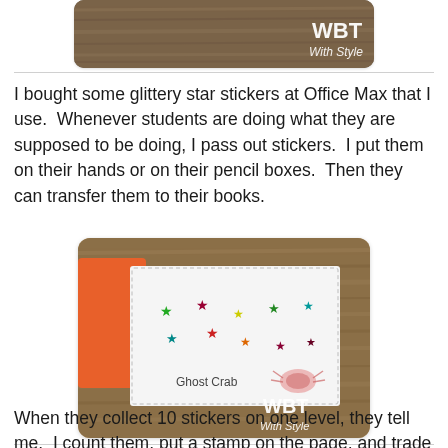[Figure (photo): Partial top photo showing a wooden surface with WBT With Style watermark in bottom right corner]
I bought some glittery star stickers at Office Max that I use.  Whenever students are doing what they are supposed to be doing, I pass out stickers.  I put them on their hands or on their pencil boxes.  Then they can transfer them to their books.
[Figure (photo): Photo of a student reading log or book page with colorful glitter star stickers arranged on it, labeled 'Ghost Crab' with a crab stamp, orange folder visible, wooden surface background, WBT With Style watermark]
When they collect 10 stickers on one level, they tell me.  I count them, put a stamp on the page, and trade out their little